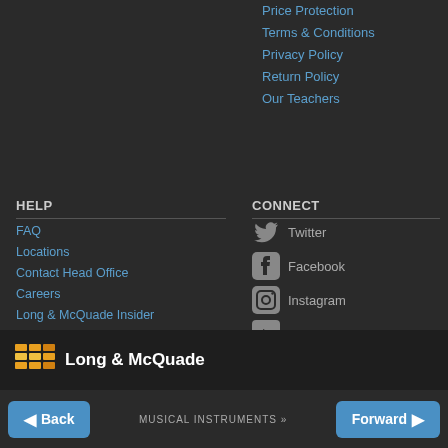Price Protection
Terms & Conditions
Privacy Policy
Return Policy
Our Teachers
HELP
FAQ
Locations
Contact Head Office
Careers
Long & McQuade Insider
Site Map
Shop By Brand
Reviews
Report A Bug
CONNECT
Twitter
Facebook
Instagram
YouTube
RSS: New Products
RSS: News & Events
RSS: Blog
[Figure (logo): Long & McQuade logo with orange/yellow grid icon]
Back | MUSICAL INSTRUMENTS | Forward